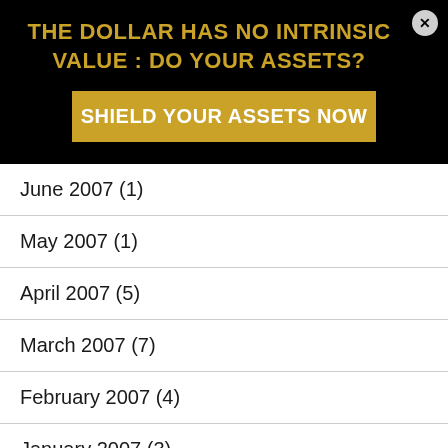THE DOLLAR HAS NO INTRINSIC VALUE : DO YOUR ASSETS?
SHIELD YOUR ASSETS NOW
June 2007 (1)
May 2007 (1)
April 2007 (5)
March 2007 (7)
February 2007 (4)
January 2007 (3)
December 2006 (2)
November 2006 (1)